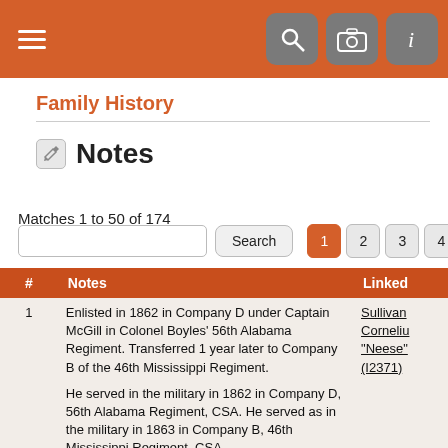Family History
Notes
Matches 1 to 50 of 174
| # | Notes | Linked |
| --- | --- | --- |
| 1 | Enlisted in 1862 in Company D under Captain McGill in Colonel Boyles' 56th Alabama Regiment. Transferred 1 year later to Company B of the 46th Mississippi Regiment.

He served in the military in 1862 in Company D, 56th Alabama Regiment, CSA. He served as in the military in 1863 in Company B, 46th Mississippi Regiment, CSA

"Cornelius J. (Conn) enlisted in 1862. He was assigned to Company D, under Captain McGill in Colonel Boyles' 56th Alabama Regiment. After twelve months service with this outfit, he was transferred to Company B of the 46th Mississippi Regiment. He was a prisoner at | Sullivan Cornelius "Neese" (I2371) |